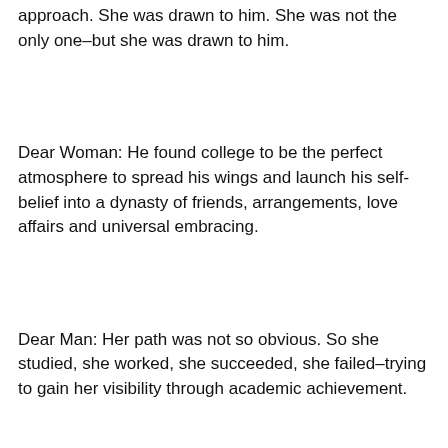approach. She was drawn to him. She was not the only one–but she was drawn to him.
Dear Woman: He found college to be the perfect atmosphere to spread his wings and launch his self-belief into a dynasty of friends, arrangements, love affairs and universal embracing.
Dear Man: Her path was not so obvious. So she studied, she worked, she succeeded, she failed–trying to gain her visibility through academic achievement.
Dear Woman: When he met her, he knew he needed her.